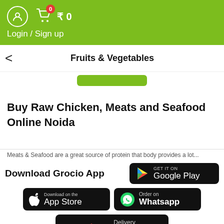[Figure (screenshot): Green app header bar with user icon, shopping cart with badge showing 0, rupee symbol and 0, and Login / Sign up text]
Login / Sign up
Fruits & Vegetables
Buy Raw Chicken, Meats and Seafood Online Noida
Meats & Seafood are a great source of protein that body provides a lot...
Download Grocio App
[Figure (logo): GET IT ON Google Play button]
[Figure (logo): Download on the App Store button]
[Figure (logo): Order on Whatsapp button]
[Figure (logo): Delivery in 90 Mins* button with motorbike icon]